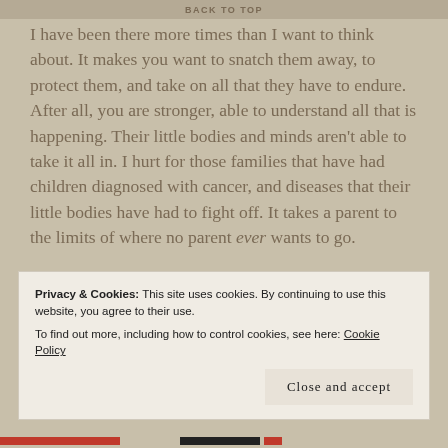BACK TO TOP
I have been there more times than I want to think about. It makes you want to snatch them away, to protect them, and take on all that they have to endure. After all, you are stronger, able to understand all that is happening. Their little bodies and minds aren’t able to take it all in. I hurt for those families that have had children diagnosed with cancer, and diseases that their little bodies have had to fight off. It takes a parent to the limits of where no parent ever wants to go.
I don’t fully understand why these kind of trials and tribulations are allowed in our lives. I really don’t want to face them. I want to be swept down that stream, gurgling merrily along as the blue sky smiles down at me.
Privacy & Cookies: This site uses cookies. By continuing to use this website, you agree to their use.
To find out more, including how to control cookies, see here: Cookie Policy
Close and accept